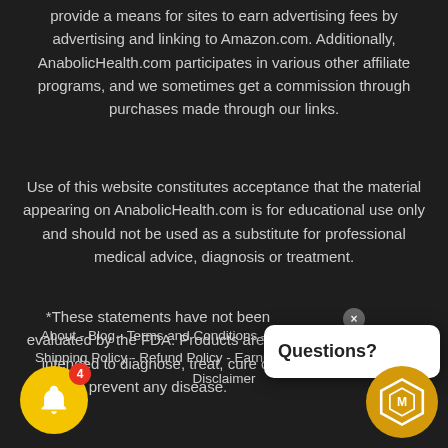provide a means for sites to earn advertising fees by advertising and linking to Amazon.com. Additionally, AnabolicHealth.com participates in various other affiliate programs, and we sometimes get a commission through purchases made through our links.
Use of this website constitutes acceptance that the material appearing on AnabolicHealth.com is for educational use only and should not be used as a substitute for professional medical advice, diagnosis or treatment.
*These statements have not been evaluated by the FDA. Products are not intended to diagnose, treat, cure or prevent any disease.
Questions?
About - Blog - Terms and Conditions - Cookie Policy - Shipping Policy - Refund Policy - Earnings Disclaimer - Medical Disclaimer